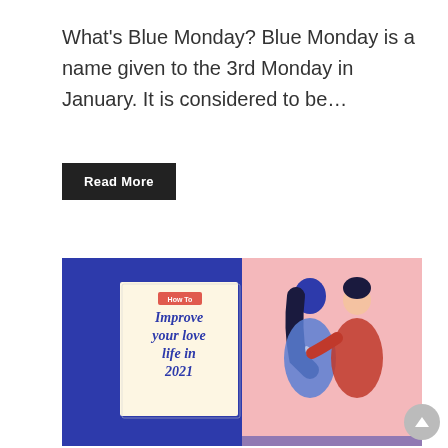What's Blue Monday? Blue Monday is a name given to the 3rd Monday in January. It is considered to be...
Read More
[Figure (illustration): Illustration with blue left half showing a notepad with text 'How To / Improve your love life in 2021' and pink right half showing a couple embracing.]